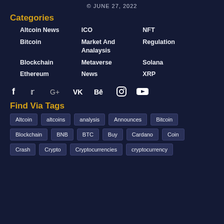© JUNE 27, 2022
Categories
Altcoin News
Bitcoin
Blockchain
Ethereum
ICO
Market And Analaysis
Metaverse
News
NFT
Regulation
Solana
XRP
[Figure (infographic): Social media icons: Facebook, Twitter, Google+, VK, Behance, Instagram, YouTube]
Find Via Tags
Altcoin
altcoins
analysis
Announces
Bitcoin
Blockchain
BNB
BTC
Buy
Cardano
Coin
Crash
Crypto
Cryptocurrencies
cryptocurrency